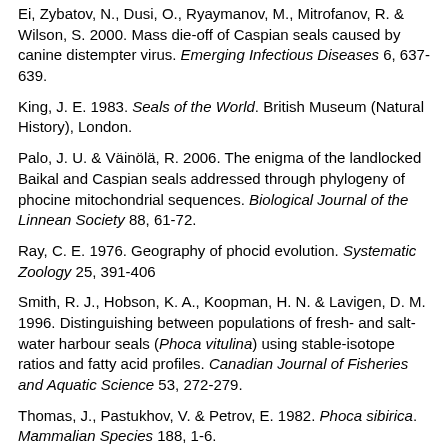Ei, Zybatov, N., Dusi, O., Ryaymanov, M., Mitrofanov, R. & Wilson, S. 2000. Mass die-off of Caspian seals caused by canine distempter virus. Emerging Infectious Diseases 6, 637-639.
King, J. E. 1983. Seals of the World. British Museum (Natural History), London.
Palo, J. U. & Väinölä, R. 2006. The enigma of the landlocked Baikal and Caspian seals addressed through phylogeny of phocine mitochondrial sequences. Biological Journal of the Linnean Society 88, 61-72.
Ray, C. E. 1976. Geography of phocid evolution. Systematic Zoology 25, 391-406
Smith, R. J., Hobson, K. A., Koopman, H. N. & Lavigen, D. M. 1996. Distinguishing between populations of fresh- and salt-water harbour seals (Phoca vitulina) using stable-isotope ratios and fatty acid profiles. Canadian Journal of Fisheries and Aquatic Science 53, 272-279.
Thomas, J., Pastukhov, V. & Petrov, E. 1982. Phoca sibirica. Mammalian Species 188, 1-6.